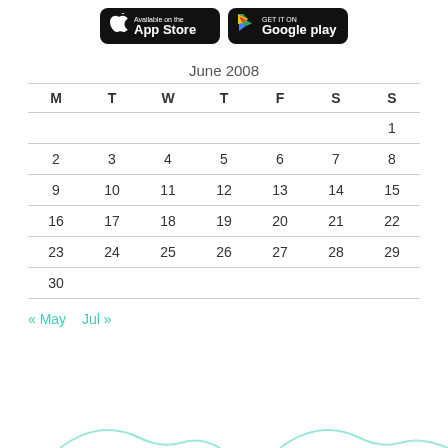[Figure (other): App Store and Google Play download badges]
June 2008
| M | T | W | T | F | S | S |
| --- | --- | --- | --- | --- | --- | --- |
|  |  |  |  |  |  | 1 |
| 2 | 3 | 4 | 5 | 6 | 7 | 8 |
| 9 | 10 | 11 | 12 | 13 | 14 | 15 |
| 16 | 17 | 18 | 19 | 20 | 21 | 22 |
| 23 | 24 | 25 | 26 | 27 | 28 | 29 |
| 30 |  |  |  |  |  |  |
« May   Jul »